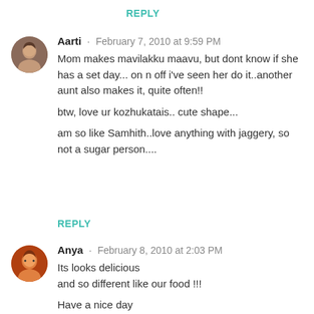REPLY
Aarti · February 7, 2010 at 9:59 PM
Mom makes mavilakku maavu, but dont know if she has a set day... on n off i've seen her do it..another aunt also makes it, quite often!!

btw, love ur kozhukatais.. cute shape...

am so like Samhith..love anything with jaggery, so not a sugar person....
REPLY
Anya · February 8, 2010 at 2:03 PM
Its looks delicious
and so different like our food !!!

Have a nice day
Anya (@^.^@)